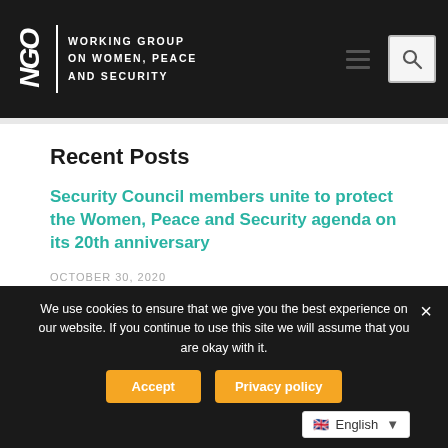[Figure (logo): NGO Working Group on Women, Peace and Security logo — white text on black background with vertical NGO letters and organization name]
Recent Posts
Security Council members unite to protect the Women, Peace and Security agenda on its 20th anniversary
OCTOBER 30, 2020
Support Civil Society at the UN Security Council
JULY 1, 2020
We use cookies to ensure that we give you the best experience on our website. If you continue to use this site we will assume that you are okay with it.